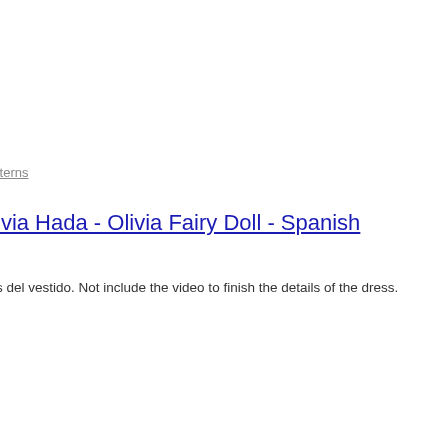tterns
ivia Hada - Olivia Fairy Doll - Spanish
s del vestido. Not include the video to finish the details of the dress.